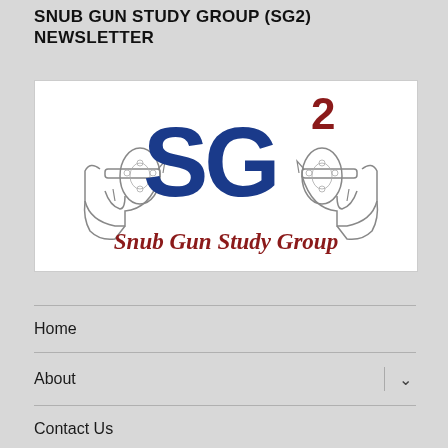SNUB GUN STUDY GROUP (SG2) NEWSLETTER
[Figure (logo): Snub Gun Study Group logo featuring two revolver illustrations flanking large blue 'SG' letters with a dark red superscript '2', and text 'Snub Gun Study Group' in dark red below on white background.]
Home
About
Contact Us